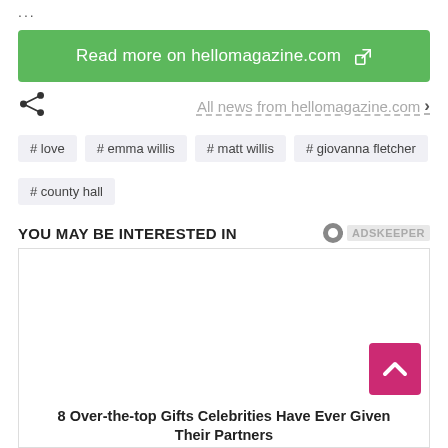...
Read more on hellomagazine.com
All news from hellomagazine.com >
# love
# emma willis
# matt willis
# giovanna fletcher
# county hall
YOU MAY BE INTERESTED IN
[Figure (screenshot): Ad content area with back-to-top button (pink/magenta) with upward chevron]
8 Over-the-top Gifts Celebrities Have Ever Given Their Partners